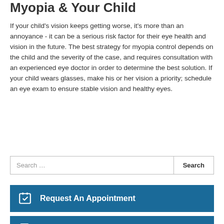Myopia & Your Child
If your child's vision keeps getting worse, it's more than an annoyance - it can be a serious risk factor for their eye health and vision in the future. The best strategy for myopia control depends on the child and the severity of the case, and requires consultation with an experienced eye doctor in order to determine the best solution. If your child wears glasses, make his or her vision a priority; schedule an eye exam to ensure stable vision and healthy eyes.
Search …
Request An Appointment
Patient Registration Form